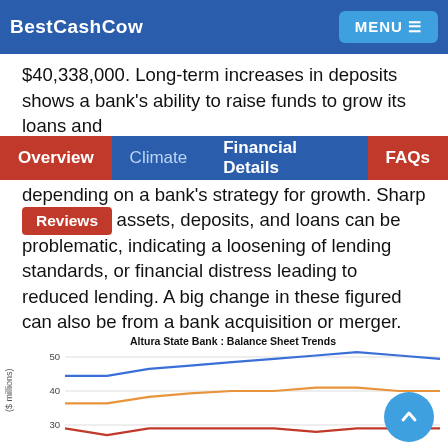BestCashCow
As of June 30, 2016, Altura State Bank had $48,170,000, loans of $29,412,000, and deposits of $40,338,000. Long-term increases in deposits shows a bank's ability to raise funds to grow its loans and
Overview | Climate | Financial Details | FAQs
depending on a bank's strategy for growth. Sharp rises
Reviews
in assets, deposits, and loans can be problematic, indicating a loosening of lending standards, or financial distress leading to reduced lending. A big change in these figured can also be from a bank acquisition or merger.
[Figure (line-chart): Altura State Bank : Balance Sheet Trends]